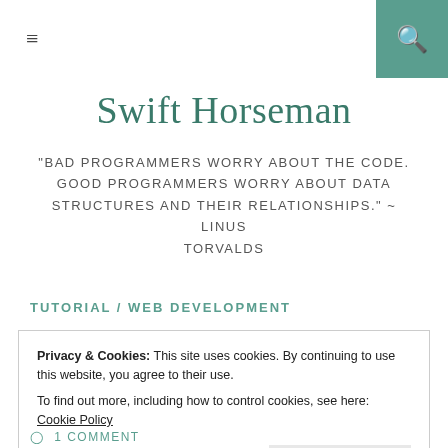≡  [search icon]
Swift Horseman
"BAD PROGRAMMERS WORRY ABOUT THE CODE. GOOD PROGRAMMERS WORRY ABOUT DATA STRUCTURES AND THEIR RELATIONSHIPS." ~ LINUS TORVALDS
TUTORIAL / WEB DEVELOPMENT
Privacy & Cookies: This site uses cookies. By continuing to use this website, you agree to their use.
To find out more, including how to control cookies, see here: Cookie Policy
Close and accept
1 COMMENT